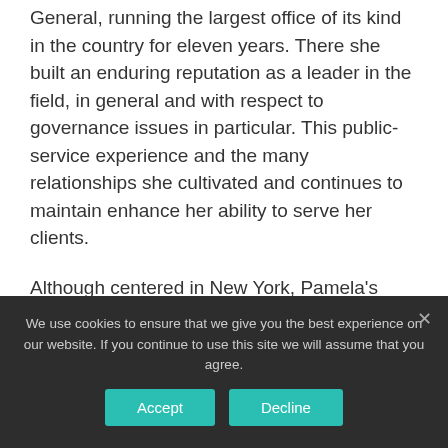General, running the largest office of its kind in the country for eleven years. There she built an enduring reputation as a leader in the field, in general and with respect to governance issues in particular. This public-service experience and the many relationships she cultivated and continues to maintain enhance her ability to serve her clients.
Although centered in New York, Pamela's practice is national in scope. She represents clients in issues involving charitable solicitation, corporate governance, grant-making, international
We use cookies to ensure that we give you the best experience on our website. If you continue to use this site we will assume that you agree.